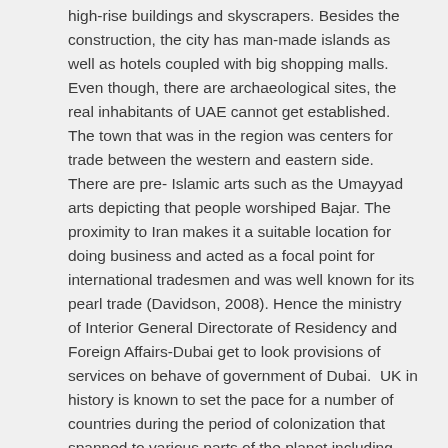high-rise buildings and skyscrapers. Besides the construction, the city has man-made islands as well as hotels coupled with big shopping malls. Even though, there are archaeological sites, the real inhabitants of UAE cannot get established. The town that was in the region was centers for trade between the western and eastern side. There are pre- Islamic arts such as the Umayyad arts depicting that people worshiped Bajar. The proximity to Iran makes it a suitable location for doing business and acted as a focal point for international tradesmen and was well known for its pearl trade (Davidson, 2008). Hence the ministry of Interior General Directorate of Residency and Foreign Affairs-Dubai get to look provisions of services on behave of government of Dubai.  UK in history is known to set the pace for a number of countries during the period of colonization that spanned to various parts of the planet including Africa. They competed with France, Germany, and Portugal in territorial colonization (Rutherford, 2014). The UK government has a website for assisting clients on any issues both residents and foreigners.